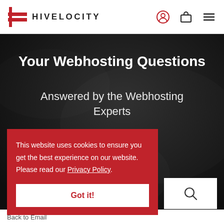HIVELOCITY
Your Webhosting Questions
Answered by the Webhosting Experts
See where the internet lives ↗
This website uses cookies to ensure you get the best experience on our website. Please read our Privacy Policy.
Got it!
Back to Email